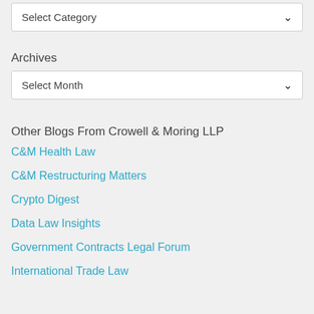Select Category
Archives
Select Month
Other Blogs From Crowell & Moring LLP
C&M Health Law
C&M Restructuring Matters
Crypto Digest
Data Law Insights
Government Contracts Legal Forum
International Trade Law